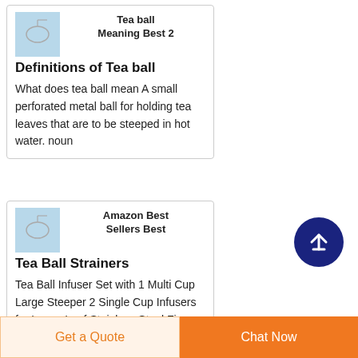[Figure (screenshot): Thumbnail image of tea ball infuser product]
Tea ball Meaning Best 2 Definitions of Tea ball
What does tea ball mean A small perforated metal ball for holding tea leaves that are to be steeped in hot water. noun
[Figure (screenshot): Thumbnail image of Amazon tea ball strainers product]
Amazon Best Sellers Best Tea Ball Strainers
Tea Ball Infuser Set with 1 Multi Cup Large Steeper 2 Single Cup Infusers for Loose Leaf Stainless Steel Fine MeshMulling Spice Ball
[Figure (other): Scroll to top circular button with upward arrow]
Get a Quote
Chat Now